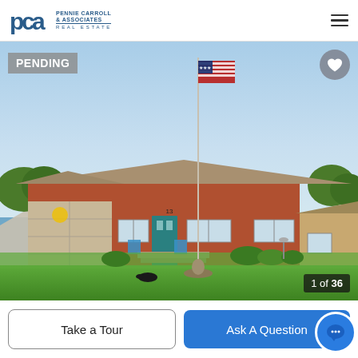PCA Pennie Carroll & Associates Real Estate
[Figure (photo): Exterior photo of a single-story brick ranch home with an American flag on a tall flagpole in the front yard, green lawn, blue front door, and attached garage. A PENDING badge is shown in the upper left corner and a heart/favorite button in the upper right. A photo counter shows '1 of 36' in the lower right.]
Take a Tour
Ask A Question